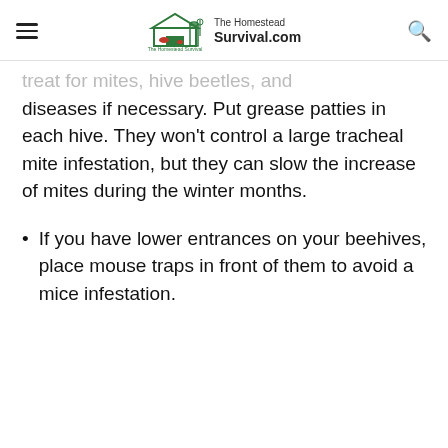The Homestead Survival.com
treat for mites, hive beetles, and diseases if necessary. Put grease patties in each hive. They won't control a large tracheal mite infestation, but they can slow the increase of mites during the winter months.
If you have lower entrances on your beehives, place mouse traps in front of them to avoid a mice infestation.